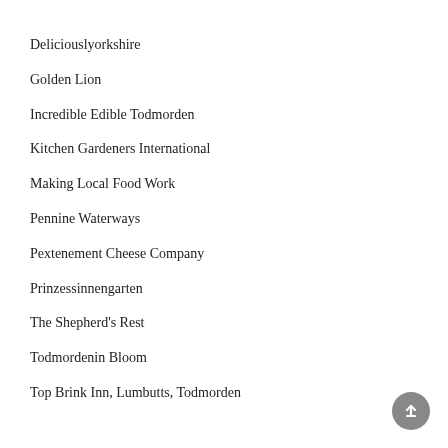Deliciouslyorkshire
Golden Lion
Incredible Edible Todmorden
Kitchen Gardeners International
Making Local Food Work
Pennine Waterways
Pextenement Cheese Company
Prinzessinnengarten
The Shepherd's Rest
Todmordenin Bloom
Top Brink Inn, Lumbutts, Todmorden